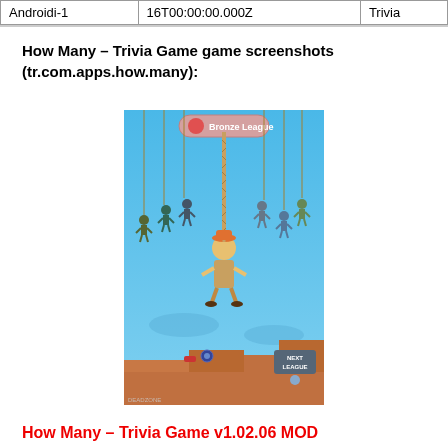| Androidi-1 | 16T00:00:00.000Z | Trivia |
How Many – Trivia Game game screenshots (tr.com.apps.how.many):
[Figure (screenshot): Screenshot of How Many Trivia Game showing characters hanging from ropes in a Bronze League game scene with a NEXT LEAGUE button and DEADZONE label at the bottom]
How Many – Trivia Game v1.02.06 MOD